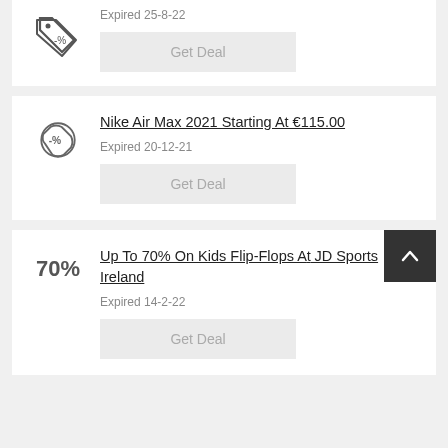[Figure (other): Discount badge icon with -% symbol, partial card at top]
Expired 25-8-22
Get Deal
Nike Air Max 2021 Starting At €115.00
[Figure (other): Discount badge icon with -% symbol]
Expired 20-12-21
Get Deal
Up To 70% On Kids Flip-Flops At JD Sports Ireland
70%
Expired 14-2-22
Get Deal